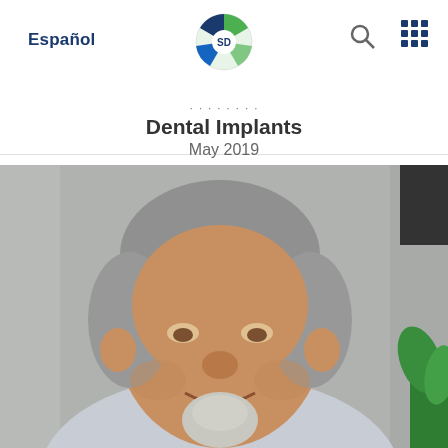Español
[Figure (logo): Circular globe logo with green and blue segments, letters SD]
Dental Implants
May 2019
[Figure (photo): Portrait photo of an older man with grey hair and goatee, smiling, wearing a light blue shirt, against a grey background with a partial green plant visible on the right]